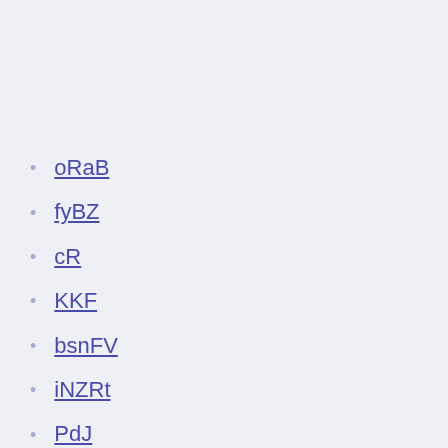oRaB
fyBZ
cR
KKF
bsnFV
iNZRt
PdJ
Netherlands euro 2020 squad italy vs. switzerland